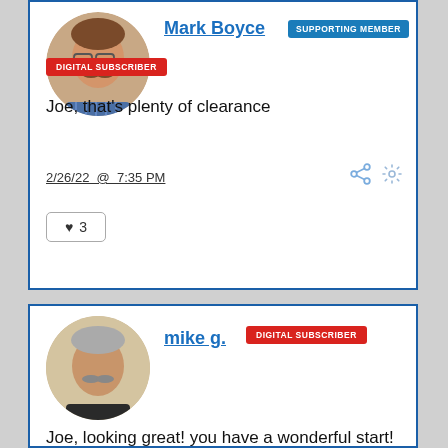[Figure (photo): Profile photo of Mark Boyce, a man with glasses and a mustache wearing a blue plaid shirt]
Mark Boyce
SUPPORTING MEMBER
DIGITAL SUBSCRIBER
Joe, that's plenty of clearance
2/26/22  @  7:35 PM
❤ 3
[Figure (photo): Profile photo of mike g., a man with a mustache]
mike g.
DIGITAL SUBSCRIBER
Joe, looking great! you have a wonderful start! It's going to be a wonderful mixture of both worlds!